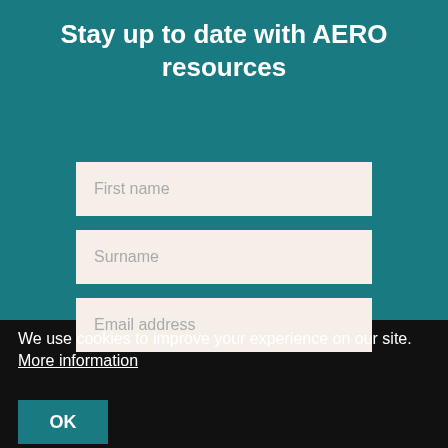Stay up to date with AERO resources
First name
Surname
Email address
We use cookies to improve your experience on our site.  More information
OK